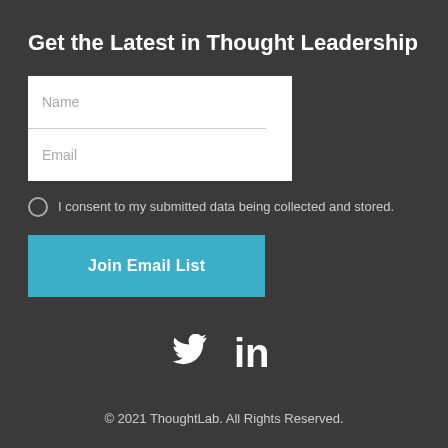Get the Latest in Thought Leadership
[Figure (screenshot): Two input form fields stacked: Name field on top, Email field below, both white with light gray placeholder text]
I consent to my submitted data being collected and stored.
Join Email List
[Figure (infographic): Twitter bird icon and LinkedIn 'in' icon side by side in white on dark background]
© 2021 ThoughtLab. All Rights Reserved.